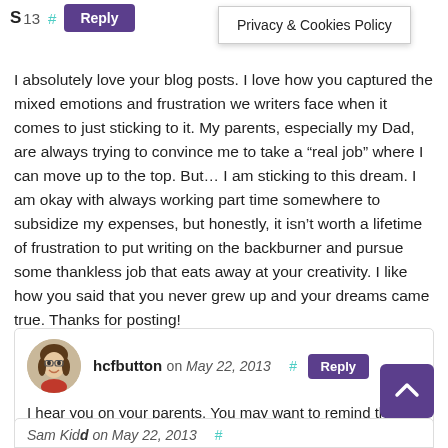Privacy & Cookies Policy
I absolutely love your blog posts. I love how you captured the mixed emotions and frustration we writers face when it comes to just sticking to it. My parents, especially my Dad, are always trying to convince me to take a “real job” where I can move up to the top. But… I am sticking to this dream. I am okay with always working part time somewhere to subsidize my expenses, but honestly, it isn’t worth a lifetime of frustration to put writing on the backburner and pursue some thankless job that eats away at your creativity. I like how you said that you never grew up and your dreams came true. Thanks for posting! 🙂
hcfbutton on May 22, 2013  #  Reply
I hear you on your parents. You may want to remind them that there are no longer jobs where you can “move up to the top.”
Sam Kidd on May 22, 2013  #